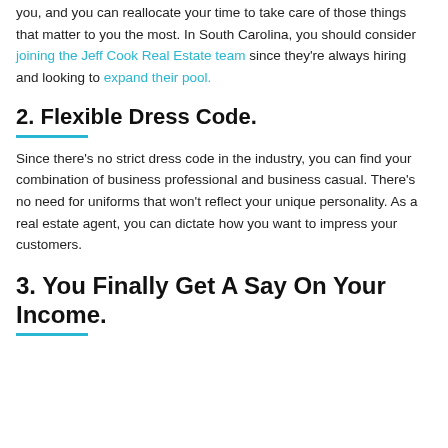you, and you can reallocate your time to take care of those things that matter to you the most. In South Carolina, you should consider joining the Jeff Cook Real Estate team since they're always hiring and looking to expand their pool.
2. Flexible Dress Code.
Since there's no strict dress code in the industry, you can find your combination of business professional and business casual. There's no need for uniforms that won't reflect your unique personality. As a real estate agent, you can dictate how you want to impress your customers.
3. You Finally Get A Say On Your Income.